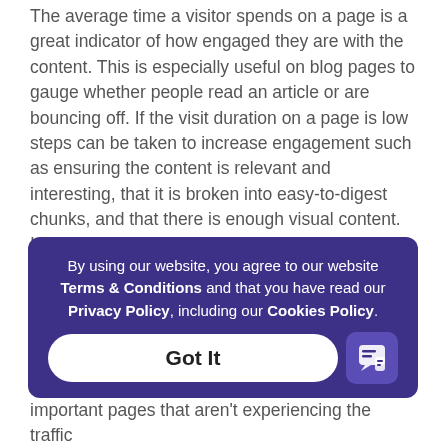The average time a visitor spends on a page is a great indicator of how engaged they are with the content. This is especially useful on blog pages to gauge whether people read an article or are bouncing off. If the visit duration on a page is low steps can be taken to increase engagement such as ensuring the content is relevant and interesting, that it is broken into easy-to-digest chunks, and that there is enough visual content. It’s important to note that search engines also use this metric as an indication of the quality of a website page.
5. Most visited pages
By using our website, you agree to our website Terms & Conditions and that you have read our Privacy Policy, including our Cookies Policy.
important pages that aren’t experiencing the traffic